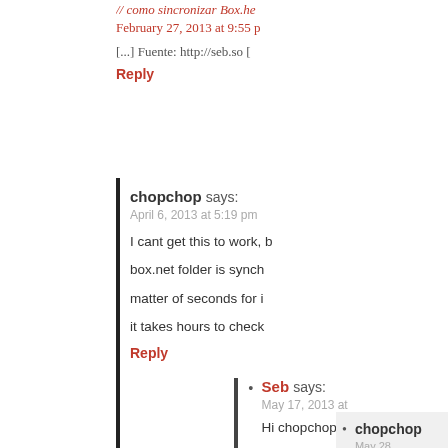// como sincronizar Box.he...
February 27, 2013 at 9:55 p
[...] Fuente: http://seb.so [
Reply
chopchop says:
April 6, 2013 at 5:19 pm
I cant get this to work, b
box.net folder is synch
matter of seconds for i
it takes hours to check
Reply
Seb says:
May 17, 2013 at
Hi chopchop, I'
unison logs to
Reply
chopchop
May 28
All sor
Reply